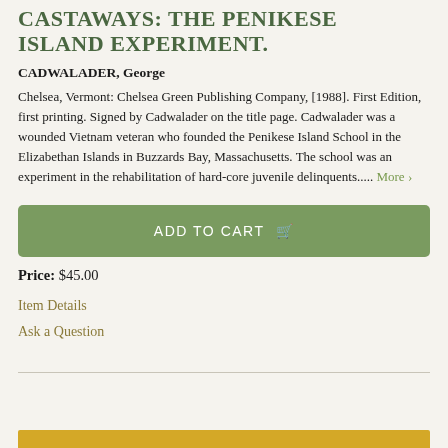CASTAWAYS: THE PENIKESE ISLAND EXPERIMENT.
CADWALADER, George
Chelsea, Vermont: Chelsea Green Publishing Company, [1988]. First Edition, first printing. Signed by Cadwalader on the title page. Cadwalader was a wounded Vietnam veteran who founded the Penikese Island School in the Elizabethan Islands in Buzzards Bay, Massachusetts. The school was an experiment in the rehabilitation of hard-core juvenile delinquents..... More ›
ADD TO CART
Price: $45.00
Item Details
Ask a Question